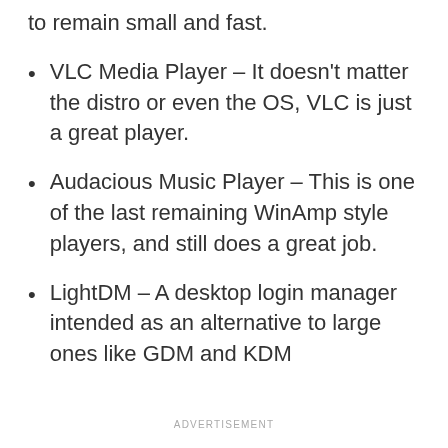to remain small and fast.
VLC Media Player – It doesn't matter the distro or even the OS, VLC is just a great player.
Audacious Music Player – This is one of the last remaining WinAmp style players, and still does a great job.
LightDM – A desktop login manager intended as an alternative to large ones like GDM and KDM
ADVERTISEMENT